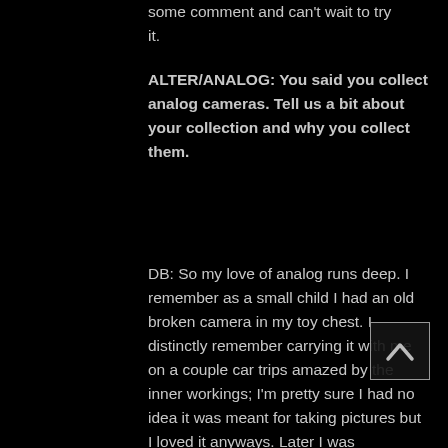some comment and can't wait to try it.
ALTER/ANALOG: You said you collect analog cameras. Tell us a bit about your collection and why you collect them.
DB: So my love of analog runs deep. I remember as a small child I had an old broken camera in my toy chest. I distinctly remember carrying it with me on a couple car trips amazed by the inner workings; I'm pretty sure I had no idea it was meant for taking pictures but I loved it anyways. Later I was fascinated by the 110 cameras owned by my parents and aunt Wanda. Oh, Wanda's was particularly cool because it had the auto strap flash bar and still